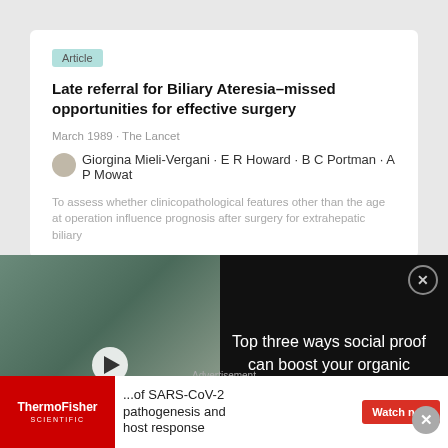Article
Late referral for Biliary Ateresia–missed opportunities for effective surgery
March 1989 · The Lancet
Giorgina Mieli-Vergani · E R Howard · B C Portman · A P Mowat
To assess whether clinicopathological features other than the age at operation influence prognosis after surgery for extrahepatic biliary
[Figure (screenshot): Video thumbnail showing people in lab coats in a laboratory setting with text overlay: TOP THREE WAYS SOCIAL PROOF CAN BOOST YOUR ORGANIC REACH AND ENGAGEMENT. Play button visible in center.]
Top three ways social proof can boost your organic reach and engagement
Advertisement
Article
...of SARS-CoV-2 pathogenesis and host response
Watch now